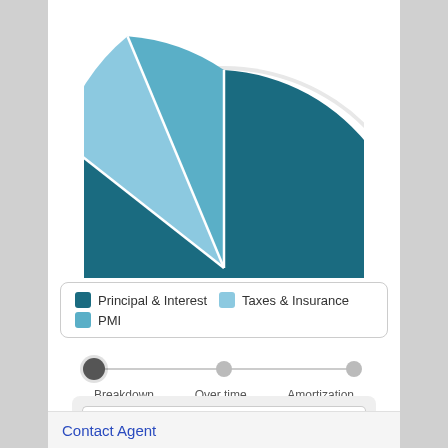[Figure (pie-chart): Pie chart partially visible showing payment breakdown with dark teal (Principal & Interest), light blue (Taxes & Insurance), and medium blue (PMI) slices]
Principal & Interest  Taxes & Insurance  PMI
Breakdown  Over time  Amortization
BASIC  ADVANCED
Purchase price
$ 450,000
Contact Agent